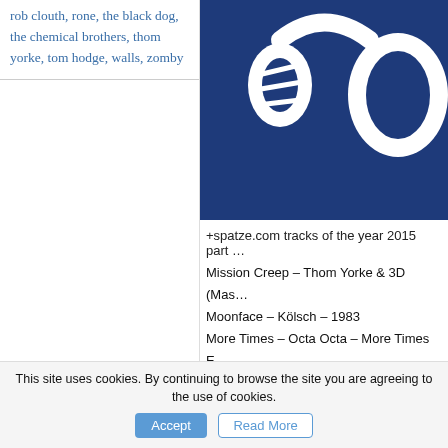rob clouth, rone, the black dog, the chemical brothers, thom yorke, tom hodge, walls, zomby
[Figure (illustration): Dark blue background with white stylized headphones graphic]
+spatze.com tracks of the year 2015 part
Mission Creep – Thom Yorke & 3D (Mas...
Moonface – Kölsch – 1983
More Times – Octa Octa – More Times E...
Neither/Neither – The Black Dog – Neith...
Open Eye Signal (George FitzGerald Rem...
Other Side – Metric – Pagans In Vegas
Peroxide – Zomby – Let's Jam!!
This site uses cookies. By continuing to browse the site you are agreeing to the use of cookies.